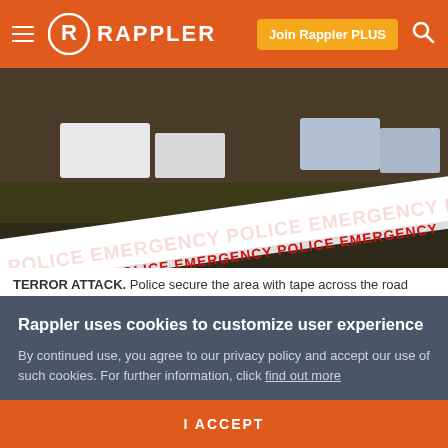Rappler — Join Rappler PLUS
[Figure (photo): Police emergency tape across road near Dean Avenue mosque, Christchurch, New Zealand]
TERROR ATTACK. Police secure the area with tape across the road from the Dean Avenue mosque on March 17, 2019 in Christchurch, New Zealand. File photo by Marty Melville/AFP
SYDNEY, Australia – Australia warned social media giants Tuesday, March 26, that executives could be jailed if they
Rappler uses cookies to customize user experience
By continued use, you agree to our privacy policy and accept our use of such cookies. For further information, click find out more
I ACCEPT